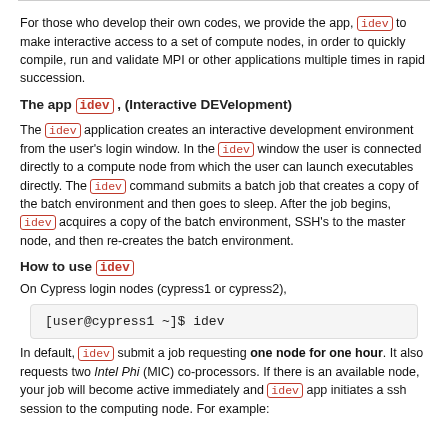For those who develop their own codes, we provide the app, idev to make interactive access to a set of compute nodes, in order to quickly compile, run and validate MPI or other applications multiple times in rapid succession.
The app idev , (Interactive DEVelopment)
The idev application creates an interactive development environment from the user's login window. In the idev window the user is connected directly to a compute node from which the user can launch executables directly. The idev command submits a batch job that creates a copy of the batch environment and then goes to sleep. After the job begins, idev acquires a copy of the batch environment, SSH's to the master node, and then re-creates the batch environment.
How to use idev
On Cypress login nodes (cypress1 or cypress2),
[user@cypress1 ~]$ idev
In default, idev submit a job requesting one node for one hour. It also requests two Intel Phi (MIC) co-processors. If there is an available node, your job will become active immediately and idev app initiates a ssh session to the computing node. For example: